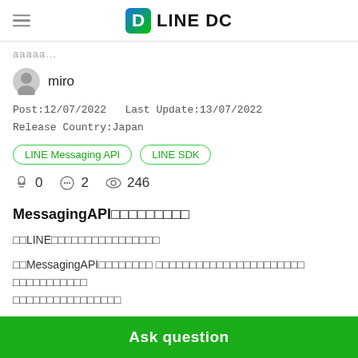LINE DC
ааааа...
miro
Post:12/07/2022   Last Update:13/07/2022
Release Country:Japan
LINE Messaging API   LINE SDK
0   2   246
MessagingAPI□□□□□□□□□
□□LINE□□□□□□□□□□□□□□□□
□□MessagingAPI□□□□□□□□ □□□□□□□□□□□□□□□□□□□□□□ □□□□□□□□□□□
□□□□□□□□□□□□□□□□
□□□Bot□□□□□□□□□□□□□□□□□□□□□□□□□□□□□□□ □□□□Messa...
Ask question